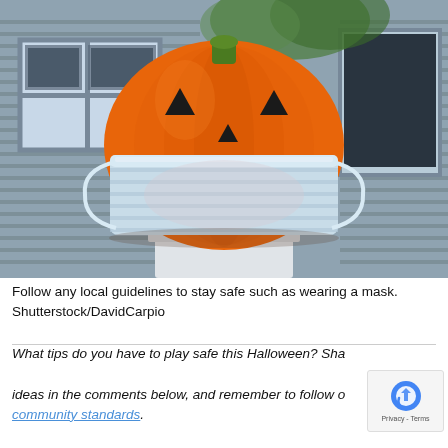[Figure (photo): Orange plastic jack-o-lantern pumpkin bucket wearing a blue surgical face mask, sitting on a white pedestal outside a house. Photo by Shutterstock/DavidCarpio.]
Follow any local guidelines to stay safe such as wearing a mask. Shutterstock/DavidCarpio
What tips do you have to play safe this Halloween? Share your ideas in the comments below, and remember to follow our community standards.